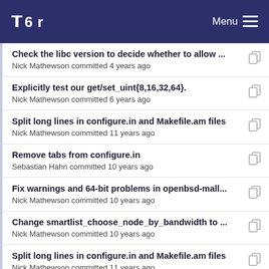Tor — Menu
Check the libc version to decide whether to allow ...
Nick Mathewson committed 4 years ago
Explicitly test our get/set_uint{8,16,32,64}.
Nick Mathewson committed 6 years ago
Split long lines in configure.in and Makefile.am files
Nick Mathewson committed 11 years ago
Remove tabs from configure.in
Sebastian Hahn committed 10 years ago
Fix warnings and 64-bit problems in openbsd-mall...
Nick Mathewson committed 10 years ago
Change smartlist_choose_node_by_bandwidth to ...
Nick Mathewson committed 10 years ago
Split long lines in configure.in and Makefile.am files
Nick Mathewson committed 11 years ago
Remove tabs from configure.in